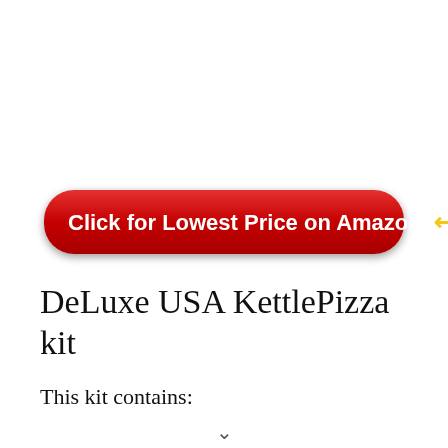[Figure (other): Red rounded rectangle button with white bold text 'Click for Lowest Price on Amazon' and a yellow arrow emoji]
DeLuxe USA KettlePizza kit
This kit contains: